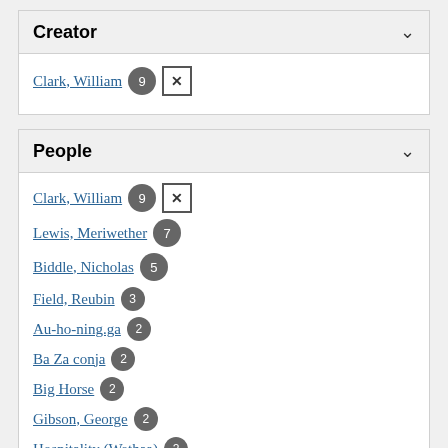Creator
Clark, William 9 ×
People
Clark, William 9 ×
Lewis, Meriwether 7
Biddle, Nicholas 5
Field, Reubin 3
Au-ho-ning.ga 2
Ba Za conja 2
Big Horse 2
Gibson, George 2
Hospitality (Wethaa) 2
La Liberté 2